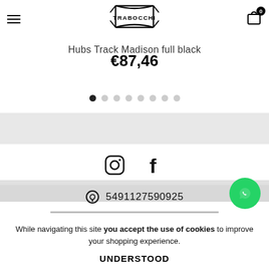Trabocchi — navigation header with logo and cart (0 items)
Hubs Track Madison full black
€87,46
[Figure (other): Pagination dots row — 8 dots, first one active (filled black), rest grey]
[Figure (other): Social media icons: Instagram and Facebook]
5491127590925
While navigating this site you accept the use of cookies to improve your shopping experience.
UNDERSTOOD